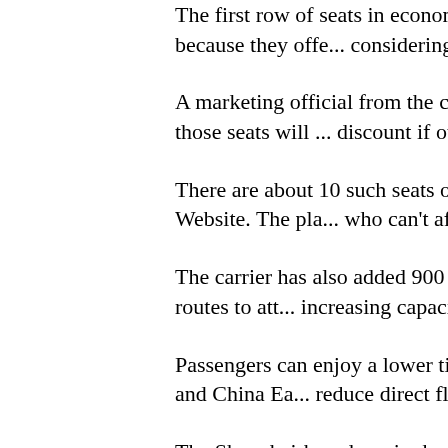The first row of seats in economy class a... exits are more popular because they offe... considering offering a smaller discount o...
A marketing official from the country's thi... yesterday the tickets for those seats will ... discount if other seats in economy class ... discount.
There are about 10 such seats on most p... be sold on the carrier's Website. The pla... who can't afford business class during th... said.
The carrier has also added 900 more tra... existing 293 domestic direct routes to att... increasing capacity.
Passengers can enjoy a lower ticket pric... other carriers' direct routes and China Ea... reduce direct flights on some unprofitabl...
The Shanghai-based carrier has mapped... measures to reduce spending by 3 billion... year.
It has secured a 7-billion-yuan cash inje...